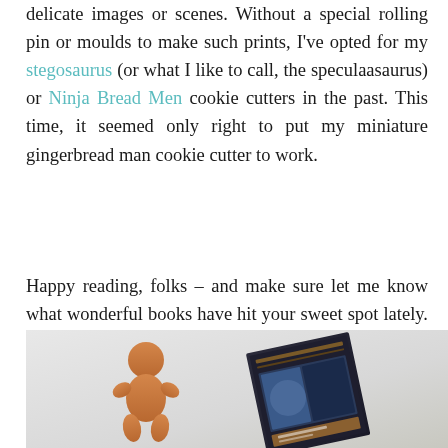delicate images or scenes. Without a special rolling pin or moulds to make such prints, I've opted for my stegosaurus (or what I like to call, the speculaasaurus) or Ninja Bread Men cookie cutters in the past. This time, it seemed only right to put my miniature gingerbread man cookie cutter to work.
Happy reading, folks – and make sure let me know what wonderful books have hit your sweet spot lately. x
[Figure (photo): Photo of a gingerbread man cookie next to a book, on a light background]